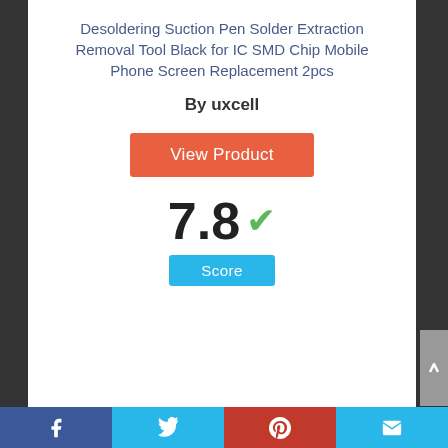Desoldering Suction Pen Solder Extraction Removal Tool Black for IC SMD Chip Mobile Phone Screen Replacement 2pcs
By uxcell
View Product
7.8 ✓
Score
[Figure (infographic): Circle with number 8 inside, representing a score badge]
Facebook | Twitter | Pinterest | Email social sharing bar